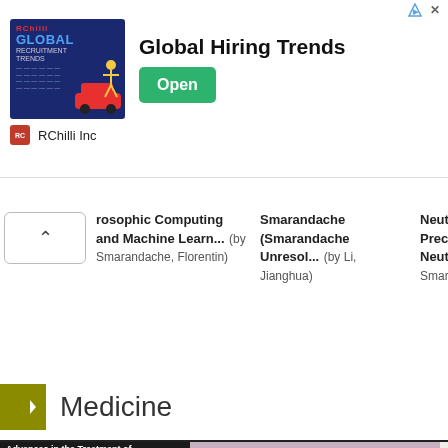[Figure (screenshot): Advertisement banner for RChilli Inc promoting Global Hiring Trends with an Open button]
rosophic Computing and Machine Learn... (by Smarandache, Florentin)
Smarandache ​​ ​​ ​​ ​ (Smarandache Unresol... (by Li, Jianghua)
Neutrosophic Precalcul... Neutrosop... Smarandache, Florentin)
Medicine
[Figure (photo): Book cover: Advances in the Treatment of Noninfectious Uveitis with Biologics: Anti-TNF and Beyond, OMICS Group]
[Figure (photo): Microscopy image showing purple and pink stained cells]
[Figure (photo): Partially visible book/document cover starting with E and Ho...]